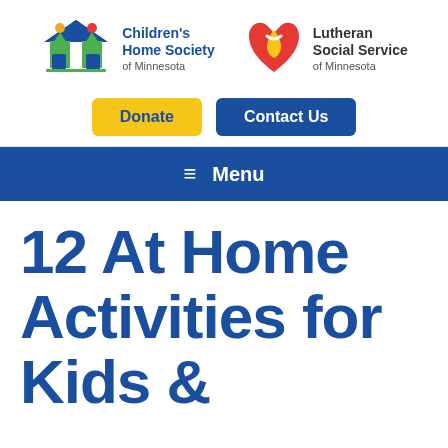[Figure (logo): Children's Home Society of Minnesota logo — colorful house icon with figures]
[Figure (logo): Lutheran Social Service of Minnesota logo — stylized red/gold heart flame]
Donate
Contact Us
Menu
12 At Home Activities for Kids &